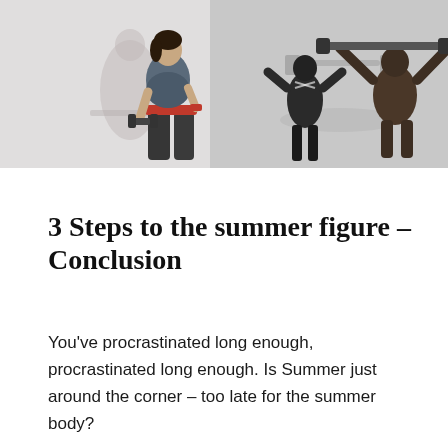[Figure (photo): Composite fitness photo: left side shows a woman in athletic wear (sports bra and leggings) holding a dumbbell; right side shows a grayscale gym scene with a woman and a man lifting weights overhead.]
3 Steps to the summer figure – Conclusion
You've procrastinated long enough, procrastinated long enough. Is Summer just around the corner – too late for the summer body?